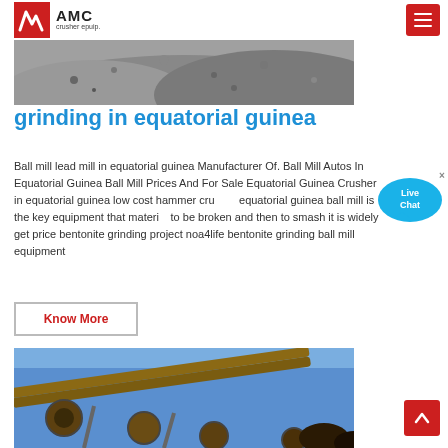AMC crusher epuip.
[Figure (photo): Top image of a gravel/rock quarry site with a large pile of crushed stone material]
grinding in equatorial guinea
Ball mill lead mill in equatorial guinea Manufacturer Of. Ball Mill Autos In Equatorial Guinea Ball Mill Prices And For Sale Equatorial Guinea Crusher in equatorial guinea low cost hammer crusher equatorial guinea ball mill is the key equipment that material to be broken and then to smash it is widely get price bentonite grinding project noa4life bentonite grinding ball mill equipment
[Figure (other): Live Chat bubble/button overlay — teal speech bubble with 'Live Chat' text]
Know More
[Figure (photo): Bottom image of industrial conveyor belt machinery against a blue sky background]